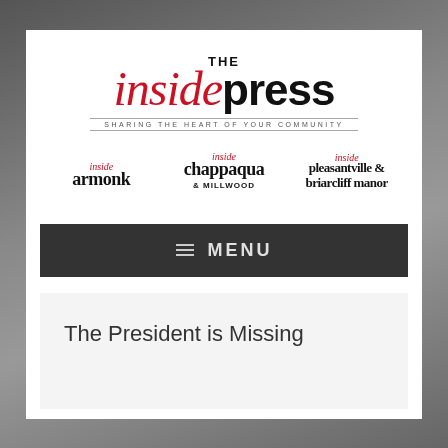[Figure (logo): The Inside Press logo with tagline 'Sharing the Heart of Your Community']
[Figure (logo): Sub-publication logos: inside armonk, inside chappaqua & millwood, inside pleasantville & briarcliff manor]
≡ MENU
The President is Missing